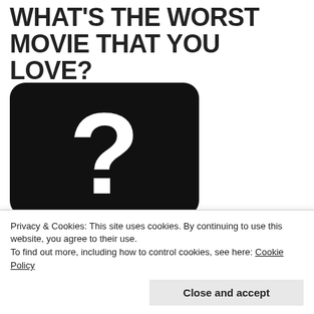WHAT'S THE WORST MOVIE THAT YOU LOVE?
[Figure (illustration): Black rounded-rectangle with a large white question mark in the center]
Privacy & Cookies: This site uses cookies. By continuing to use this website, you agree to their use.
To find out more, including how to control cookies, see here: Cookie Policy
Close and accept